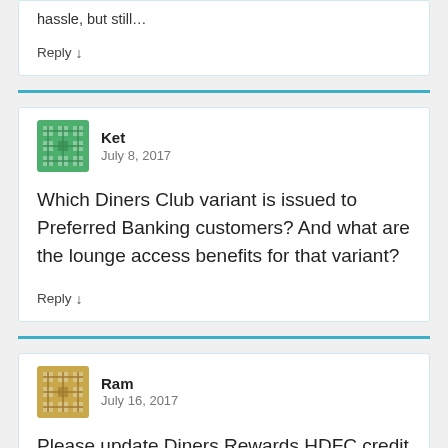hassle, but still...
Reply ↓
Ket
July 8, 2017
Which Diners Club variant is issued to Preferred Banking customers? And what are the lounge access benefits for that variant?
Reply ↓
Ram
July 16, 2017
Please update Diners Rewards HDFC credit card which is equivalent to VISA/Master Card; in comparison to preferred Master/Visa f...